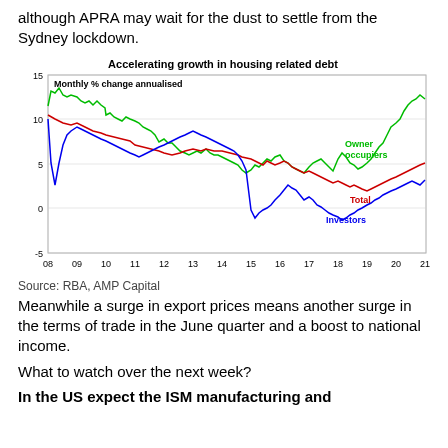although APRA may wait for the dust to settle from the Sydney lockdown.
[Figure (line-chart): Line chart showing monthly % change annualised for Owner occupiers (green), Total (red), and Investors (blue) from 2008 to 2021. Y-axis from -5 to 15. X-axis labels: 08, 09, 10, 11, 12, 13, 14, 15, 16, 17, 18, 19, 20, 21.]
Source: RBA, AMP Capital
Meanwhile a surge in export prices means another surge in the terms of trade in the June quarter and a boost to national income.
What to watch over the next week?
In the US expect the ISM manufacturing and